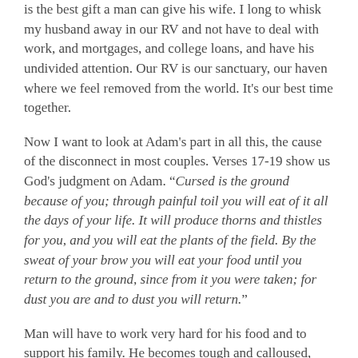is the best gift a man can give his wife.  I long to whisk my husband away in our RV and not have to deal with work, and mortgages, and college loans, and have his undivided attention.  Our RV is our sanctuary, our haven where we feel removed from the world.  It's our best time together.
Now I want to look at Adam's part in all this, the cause of the disconnect in most couples.  Verses 17-19 show us God's judgment on Adam. “Cursed is the ground because of you; through painful toil you will eat of it all the days of your life.  It will produce thorns and thistles for you, and you will eat the plants of the field.  By the sweat of your brow you will eat your food until you return to the ground, since from it you were taken; for dust you are and to dust you will return.”
Man will have to work very hard for his food and to support his family.  He becomes tough and calloused, turning into a workaholic in the process.  His job will take precedence over his life until he learns to put God first, and then his wife, ahead of